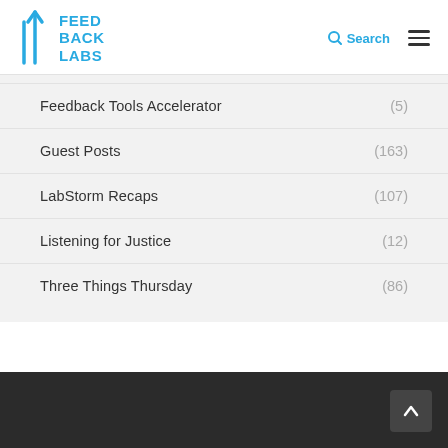FEED BACK LABS | Search | Menu
Feedback Tools Accelerator (5)
Guest Posts (163)
LabStorm Recaps (107)
Listening for Justice (12)
Three Things Thursday (86)